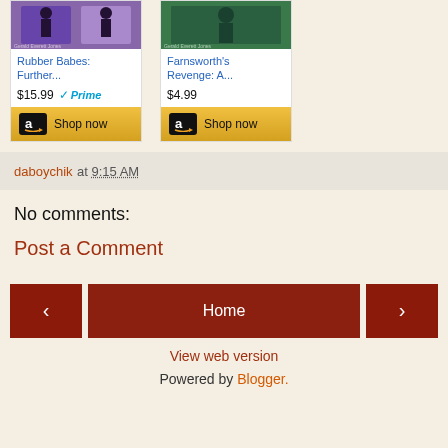[Figure (screenshot): Two Amazon product cards side by side. Left card: Book cover with purple background, title 'Rubber Babes: Further...' in blue, price $15.99 with Prime badge, and a gold 'Shop now' button with Amazon logo. Right card: Book cover with green background, title 'Farnsworth's Revenge: A...' in blue, price $4.99, and a gold 'Shop now' button with Amazon logo.]
daboychik at 9:15 AM
No comments:
Post a Comment
< Home > View web version Powered by Blogger.